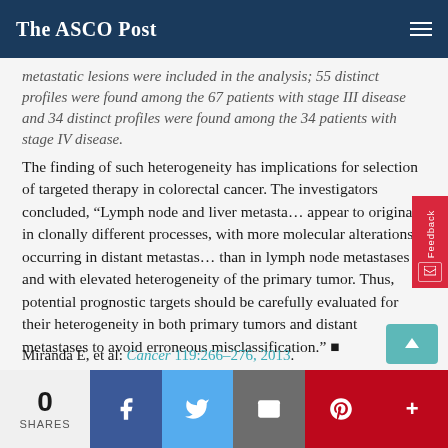The ASCO Post
metastatic lesions were included in the analysis; 55 distinct profiles were found among the 67 patients with stage III disease and 34 distinct profiles were found among the 34 patients with stage IV disease.
The finding of such heterogeneity has implications for selection of targeted therapy in colorectal cancer. The investigators concluded, “Lymph node and liver metastases appear to originate in clonally different processes, with more molecular alterations occurring in distant metastases than in lymph node metastases and with elevated heterogeneity of the primary tumor. Thus, potential prognostic targets should be carefully evaluated for their heterogeneity in both primary tumors and distant metastases to avoid erroneous misclassification.” ■
Miranda E, et al: Cancer 119:266–276, 2013.